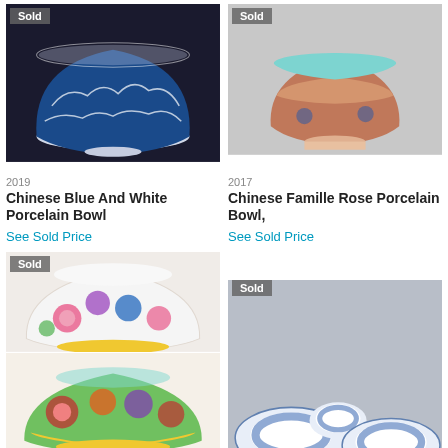[Figure (photo): Chinese Blue and White Porcelain Bowl - blue and white decorative bowl on dark background, with Sold badge]
[Figure (photo): Chinese Famille Rose Porcelain Bowl - bowl with turquoise interior and famille rose exterior on grey background, with Sold badge]
2019
Chinese Blue And White Porcelain Bowl
See Sold Price
2017
Chinese Famille Rose Porcelain Bowl,
See Sold Price
[Figure (photo): Two stacked photos of colorful Chinese famille rose porcelain bowls with floral decoration on yellow and green backgrounds, with Sold badge]
[Figure (photo): Chinese blue and white porcelain pieces - a bowl, small cup, and plate arranged together on grey background, with Sold badge]